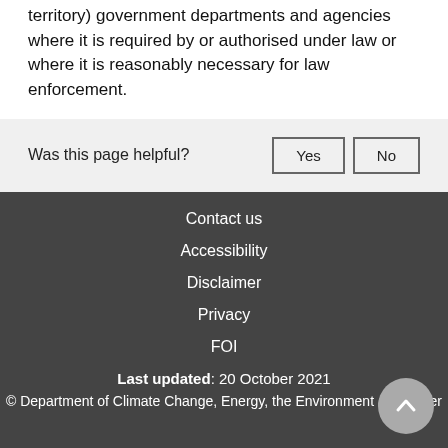territory) government departments and agencies where it is required by or authorised under law or where it is reasonably necessary for law enforcement.
Was this page helpful?
Contact us
Accessibility
Disclaimer
Privacy
FOI
Last updated: 20 October 2021
© Department of Climate Change, Energy, the Environment and Water